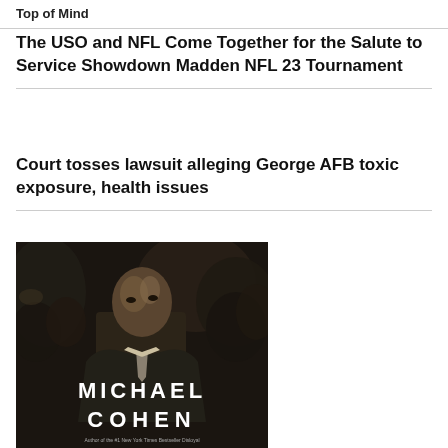Top of Mind
The USO and NFL Come Together for the Salute to Service Showdown Madden NFL 23 Tournament
Court tosses lawsuit alleging George AFB toxic exposure, health issues
[Figure (photo): Black and white book cover showing a man in a suit looking intensely at the camera surrounded by a crowd, with the large white text 'MICHAEL COHEN' at the bottom and a caption line at the very bottom reading 'Author of the #1 New York Times Bestseller Disloyal']